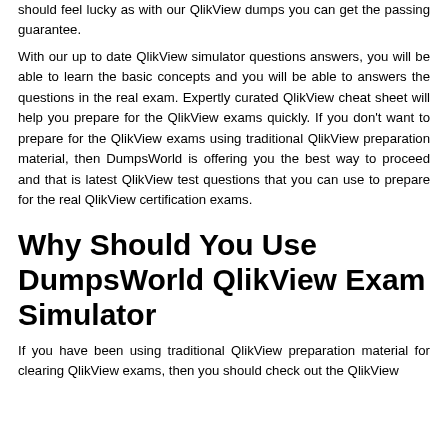should feel lucky as with our QlikView dumps you can get the passing guarantee. With our up to date QlikView simulator questions answers, you will be able to learn the basic concepts and you will be able to answers the questions in the real exam. Expertly curated QlikView cheat sheet will help you prepare for the QlikView exams quickly. If you don't want to prepare for the QlikView exams using traditional QlikView preparation material, then DumpsWorld is offering you the best way to proceed and that is latest QlikView test questions that you can use to prepare for the real QlikView certification exams.
Why Should You Use DumpsWorld QlikView Exam Simulator
If you have been using traditional QlikView preparation material for clearing QlikView exams, then you should check out the QlikView